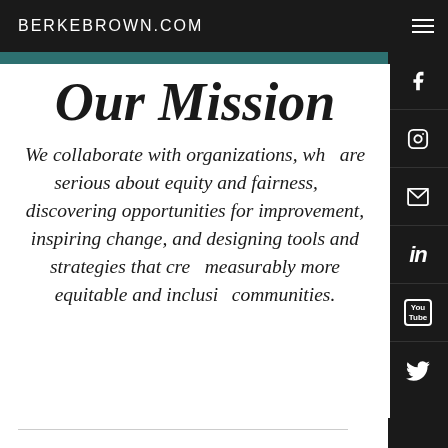BERKEBROWN.COM
Our Mission
We collaborate with organizations, who are serious about equity and fairness, discovering opportunities for improvement, inspiring change, and designing tools and strategies that create measurably more equitable and inclusive communities.